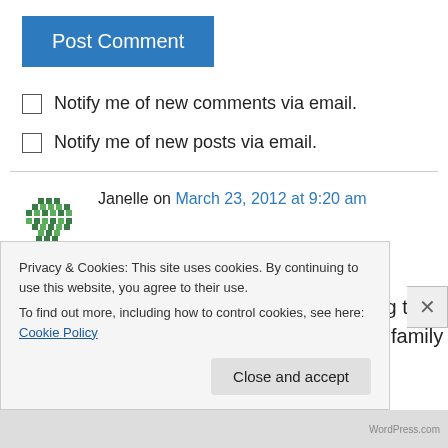[Figure (other): Blue 'Post Comment' button]
Notify me of new comments via email.
Notify me of new posts via email.
Janelle on March 23, 2012 at 9:20 am
Thank you for sharing ur story we me!Sorry for ur losses and this blog truly brings hope and comfort to me My family don't understand the
Privacy & Cookies: This site uses cookies. By continuing to use this website, you agree to their use.
To find out more, including how to control cookies, see here: Cookie Policy
Close and accept